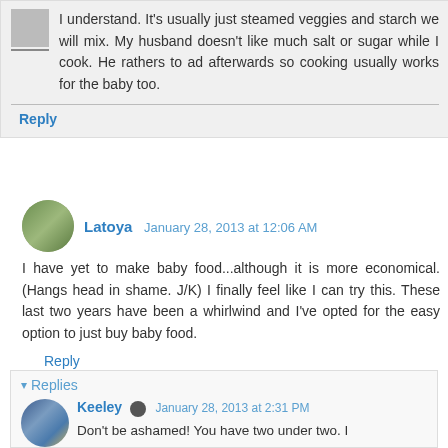I understand. It's usually just steamed veggies and starch we will mix. My husband doesn't like much salt or sugar while I cook. He rathers to ad afterwards so cooking usually works for the baby too.
Reply
Latoya  January 28, 2013 at 12:06 AM
I have yet to make baby food...although it is more economical. (Hangs head in shame. J/K) I finally feel like I can try this. These last two years have been a whirlwind and I've opted for the easy option to just buy baby food.
Reply
Replies
Keeley  January 28, 2013 at 2:31 PM
Don't be ashamed! You have two under two. I